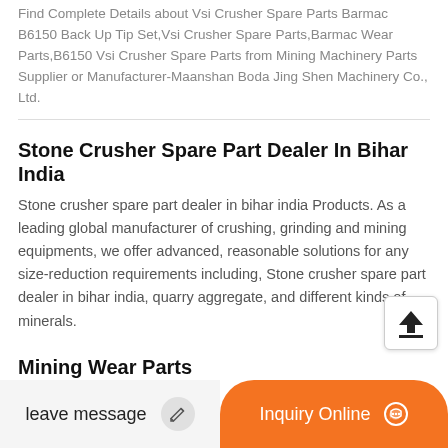Find Complete Details about Vsi Crusher Spare Parts Barmac B6150 Back Up Tip Set,Vsi Crusher Spare Parts,Barmac Wear Parts,B6150 Vsi Crusher Spare Parts from Mining Machinery Parts Supplier or Manufacturer-Maanshan Boda Jing Shen Machinery Co., Ltd.
Stone Crusher Spare Part Dealer In Bihar India
Stone crusher spare part dealer in bihar india Products. As a leading global manufacturer of crushing, grinding and mining equipments, we offer advanced, reasonable solutions for any size-reduction requirements including, Stone crusher spare part dealer in bihar india, quarry aggregate, and different kinds of minerals.
Mining Wear Parts
Bushing, Gravel & Slurry Pa...